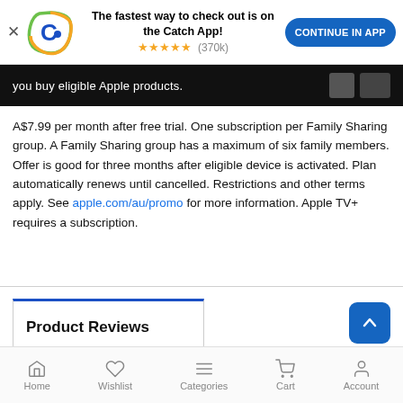[Figure (screenshot): App banner with Catch logo, 'The fastest way to check out is on the Catch App!' text, star rating (370k), and 'CONTINUE IN APP' button]
[Figure (screenshot): Black promotional banner strip showing 'you buy eligible Apple products.' text with product images]
A$7.99 per month after free trial. One subscription per Family Sharing group. A Family Sharing group has a maximum of six family members. Offer is good for three months after eligible device is activated. Plan automatically renews until cancelled. Restrictions and other terms apply. See apple.com/au/promo for more information. Apple TV+ requires a subscription.
Product Reviews
Home  Wishlist  Categories  Cart  Account